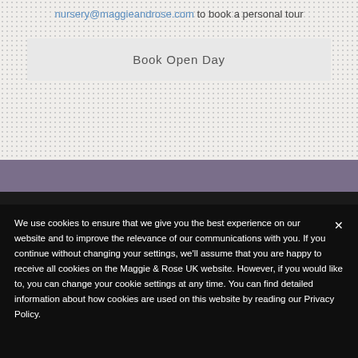nursery@maggieandrose.com to book a personal tour
Book Open Day
We use cookies to ensure that we give you the best experience on our website and to improve the relevance of our communications with you. If you continue without changing your settings, we'll assume that you are happy to receive all cookies on the Maggie & Rose UK website. However, if you would like to, you can change your cookie settings at any time. You can find detailed information about how cookies are used on this website by reading our Privacy Policy.